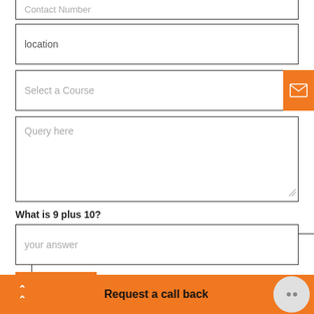[Figure (screenshot): Form field placeholder: Contact Number (partially visible at top)]
location
Select a Course
Query here
What is 9 plus 10?
your answer
Submit
Request a call back